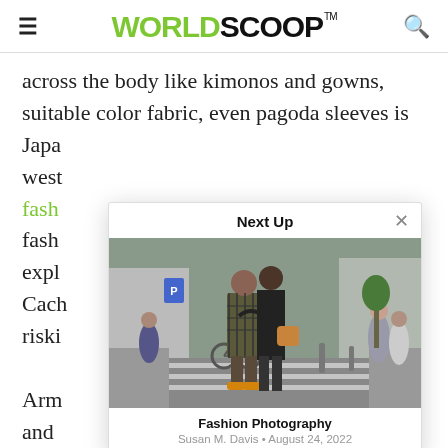WORLDSCOOP™
across the body like kimonos and gowns, suitable color fabric, even pagoda sleeves is Japa
west
fash
fash
expl
Cach
riski

Arm
and
achi
[Figure (screenshot): Next Up modal popup overlay showing a street fashion photograph with two people embracing on a city street, with caption 'Fashion Photography' by Susan M. Davis • August 24, 2022]